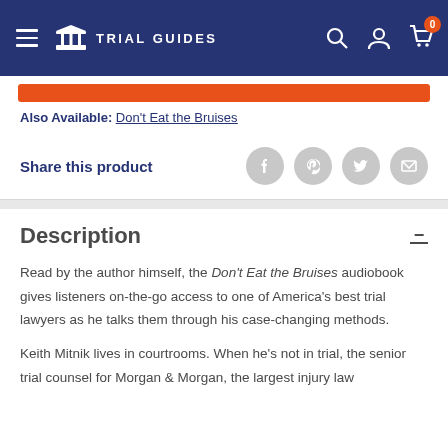Trial Guides
Also Available: Don't Eat the Bruises
Share this product
Description
Read by the author himself, the Don't Eat the Bruises audiobook gives listeners on-the-go access to one of America's best trial lawyers as he talks them through his case-changing methods.
Keith Mitnik lives in courtrooms. When he's not in trial, the senior trial counsel for Morgan & Morgan, the largest injury law